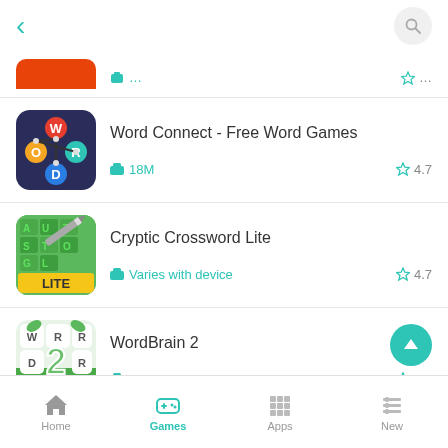[Figure (screenshot): Mobile app store listing page showing three word game apps with icons, sizes, and ratings. Navigation bar at bottom with Home, Games (active), Apps, New tabs.]
Word Connect - Free Word Games
18M  ☆ 4.7
Cryptic Crossword Lite
Varies with device  ☆ 4.7
WordBrain 2
54M  ☆ 4.5
Home  Games  Apps  New